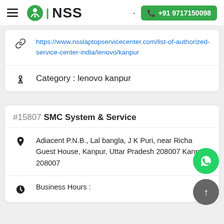NSS | +91 9717150098
https://www.nsslaptopservicecenter.com/list-of-authorized-service-center-india/lenovo/kanpur
Category : lenovo kanpur
#15807 SMC System & Service
Adiacent P.N.B., Lal bangla, J K Puri, near Richa Guest House, Kanpur, Uttar Pradesh 208007 Kanpur 208007
Business Hours :